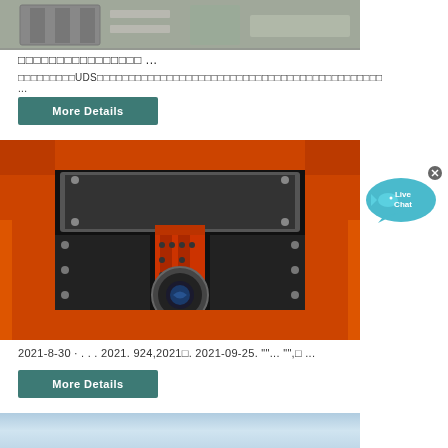[Figure (photo): Industrial metal frame/equipment components, gray metallic structure on ground]
□□□□□□□□□□□□□□□□ ...
□□□□□□□□□UDS□□□□□□□□□□□□□□□□□□□□□□□□□□□□□□□□□□□□□□□□□□□□□ ...
More Details
[Figure (photo): Industrial machinery interior view showing orange/red metal frame with bolts, central red pillar component, and circular porthole opening]
[Figure (illustration): Live Chat button - blue speech bubble with fish icon and 'Live Chat' text, with X close button]
2021-8-30 · . . . 2021. 924,2021□. 2021-09-25. ""... "",□ ...
More Details
[Figure (photo): Partial view of industrial equipment, light blue/sky colored image at bottom]